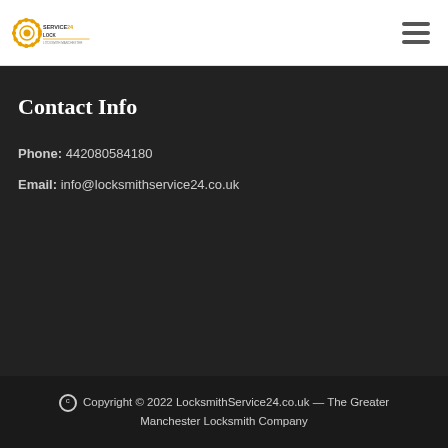LockService24 logo and navigation menu
Contact Info
Phone: 442080584180
Email: info@locksmithservice24.co.uk
© Copyright © 2022 LocksmithService24.co.uk — The Greater Manchester Locksmith Company